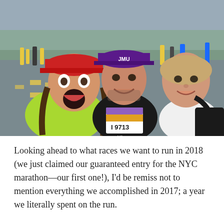[Figure (photo): Selfie photo of three people at a marathon race event. On the left, a woman wearing a red visor cap and bright yellow/green sleeveless top with braided hair, mouth wide open in excitement. In the center, a man wearing a black sleeveless shirt and a purple JMU cap, with a race bib number 9713. On the right, a woman in a white t-shirt with a black bag. Background shows a road/parking area with other race participants and cones.]
Looking ahead to what races we want to run in 2018 (we just claimed our guaranteed entry for the NYC marathon—our first one!), I'd be remiss not to mention everything we accomplished in 2017; a year we literally spent on the run.